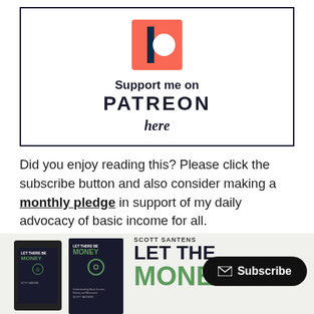[Figure (logo): Patreon logo: orange/coral square with white circle and dark vertical bar, above text 'Support me on PATREON here']
Did you enjoy reading this? Please click the subscribe button and also consider making a monthly pledge in support of my daily advocacy of basic income for all.
[Figure (photo): Book banner showing 'Let There Be Money' by Scott Santens in multiple formats (tablet, paperback, large print) with a Subscribe button overlay]